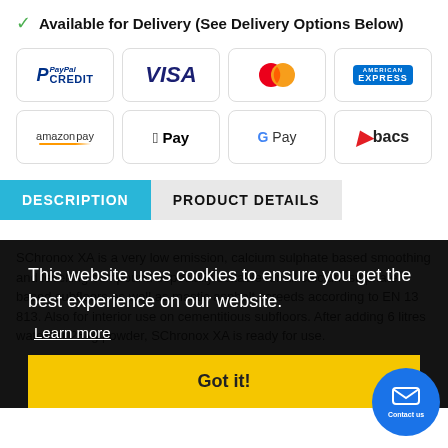✓ Available for Delivery (See Delivery Options Below)
[Figure (infographic): Payment method logos arranged in 2 rows of 4: PayPal Credit, VISA, Mastercard, American Express, Amazon Pay, Apple Pay, Google Pay, Bacs]
DESCRIPTION | PRODUCT DETAILS
This website uses cookies to ensure you get the best experience on our website. Learn more
Got it!
SChronox XA is a very low emission, calcium sulphate based smoothing and levelling compound especially suitable for all calcium sulphate based subfloors as well as mastic asphalt screeds according to EN 13 813. Also for interior use on cementitious subfloors. After adding 6 litres water for 25kg powder, SChronox XA is ready for use.